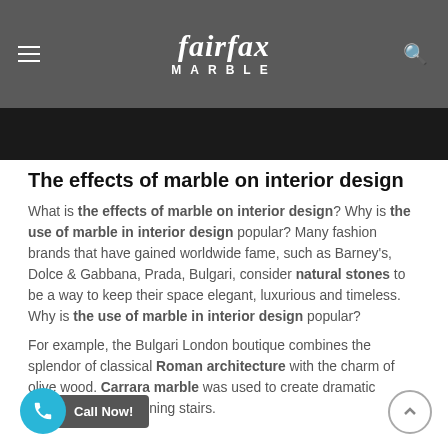fairfax MARBLE
[Figure (photo): Dark/black image bar below the site header]
The effects of marble on interior design
What is the effects of marble on interior design? Why is the use of marble in interior design popular? Many fashion brands that have gained worldwide fame, such as Barney's, Dolce & Gabbana, Prada, Bulgari, consider natural stones to be a way to keep their space elegant, luxurious and timeless. Why is the use of marble in interior design popular?
For example, the Bulgari London boutique combines the splendor of classical Roman architecture with the charm of olive wood. Carrara marble was used to create dramatic arches, an and stunning stairs.